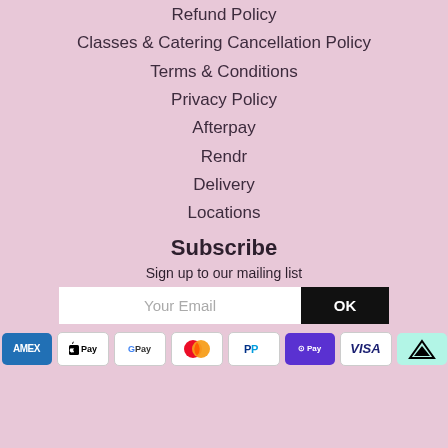Refund Policy
Classes & Catering Cancellation Policy
Terms & Conditions
Privacy Policy
Afterpay
Rendr
Delivery
Locations
Subscribe
Sign up to our mailing list
Your Email  OK
[Figure (other): Payment method icons: American Express, Apple Pay, Google Pay, Mastercard, PayPal, Shop Pay, Visa, Afterpay]